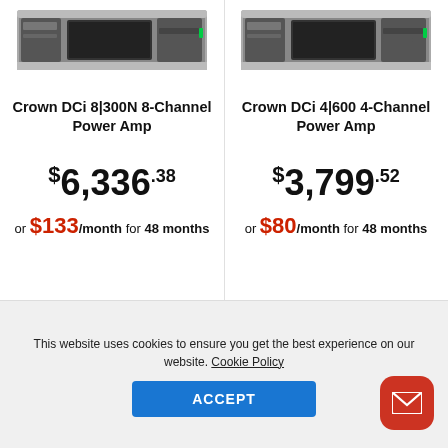[Figure (photo): Crown DCi 8|300N 8-Channel Power Amplifier rack unit product photo]
Crown DCi 8|300N 8-Channel Power Amp
$6,336.38
or $133/month for 48 months
[Figure (photo): Crown DCi 4|600 4-Channel Power Amplifier rack unit product photo]
Crown DCi 4|600 4-Channel Power Amp
$3,799.52
or $80/month for 48 months
This website uses cookies to ensure you get the best experience on our website. Cookie Policy
ACCEPT